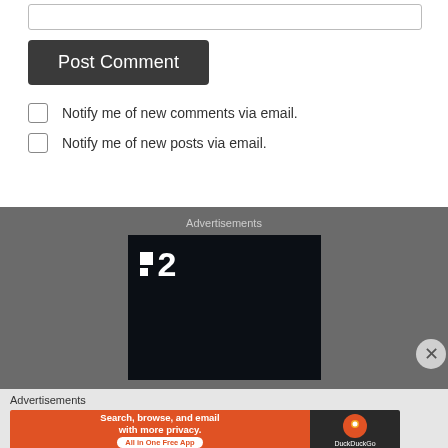[input box]
Post Comment
Notify me of new comments via email.
Notify me of new posts via email.
Advertisements
[Figure (screenshot): Dark advertisement box with a logo showing two white squares and the number 2 in white on a near-black background]
Advertisements
[Figure (screenshot): DuckDuckGo advertisement banner: orange section with text 'Search, browse, and email with more privacy. All in One Free App' and dark section with DuckDuckGo logo]